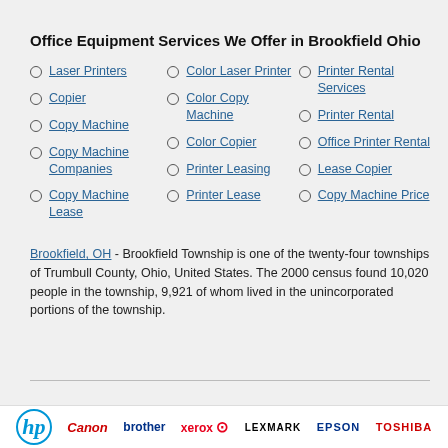Office Equipment Services We Offer in Brookfield Ohio
Laser Printers
Copier
Copy Machine
Copy Machine Companies
Copy Machine Lease
Color Laser Printer
Color Copy Machine
Color Copier
Printer Leasing
Printer Lease
Printer Rental Services
Printer Rental
Office Printer Rental
Lease Copier
Copy Machine Price
Brookfield, OH - Brookfield Township is one of the twenty-four townships of Trumbull County, Ohio, United States. The 2000 census found 10,020 people in the township, 9,921 of whom lived in the unincorporated portions of the township.
[Figure (infographic): Chat widget with How can we help you? bubble, avatar with red badge showing 1, and close X button]
[Figure (infographic): Brand logos bar: hp, Canon, brother, xerox, LEXMARK, EPSON, TOSHIBA]